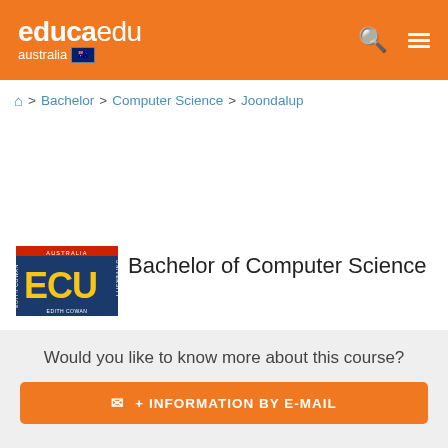educaedu australia
🏠 > Bachelor > Computer Science > Joondalup
[Figure (logo): ECU Edith Cowan University logo - blue and yellow rectangular logo]
Bachelor of Computer Science
Institution: Edith Cowan University Joondalup Campus
Method: On Campus
Would you like to know more about this course?
✉ + INFORMATION BY E-MAIL